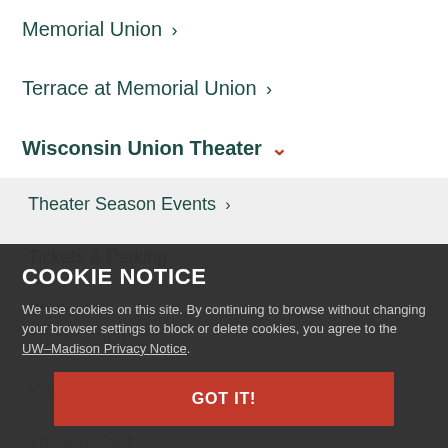Memorial Union ›
Terrace at Memorial Union ›
Wisconsin Union Theater ∨
Theater Season Events ›
Tickets & Parking
Students ›
History ›
Theater Spaces
Room Blog
Theater Staff
Press
COOKIE NOTICE
We use cookies on this site. By continuing to browse without changing your browser settings to block or delete cookies, you agree to the UW–Madison Privacy Notice.
GOT IT!